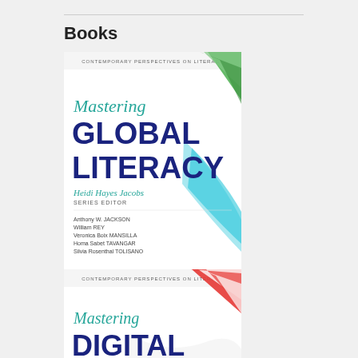Books
[Figure (illustration): Book cover: Mastering Global Literacy, Contemporary Perspectives on Literacy series. Heidi Hayes Jacobs, Series Editor. Authors: Anthony W. Jackson, William REY, Veronica Boix MANSILLA, Homa Sabet TAVANGAR, Silvia Rosenthal TOLISANO. White cover with green and teal diagonal stripe design.]
[Figure (illustration): Book cover: Mastering Digital Literacy, Contemporary Perspectives on Literacy series. Heidi Hayes Jacobs, Series Editor. White cover with red diagonal stripe design.]